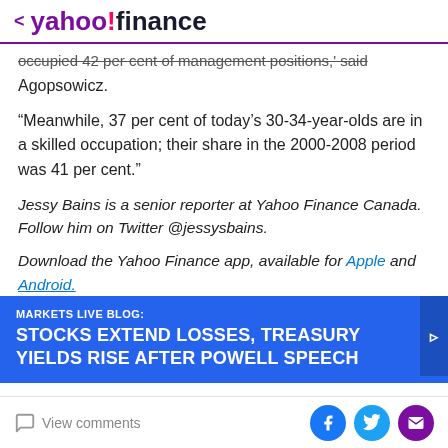< yahoo!finance
occupied 42 per cent of management positions,' said Agopsowicz.
“Meanwhile, 37 per cent of today’s 30-34-year-olds are in a skilled occupation; their share in the 2000-2008 period was 41 per cent.”
Jessy Bains is a senior reporter at Yahoo Finance Canada. Follow him on Twitter @jessysbains.
Download the Yahoo Finance app, available for Apple and Android.
MARKETS LIVE BLOG: STOCKS EXTEND LOSSES, TREASURY YIELDS RISE AFTER POWELL SPEECH
View comments